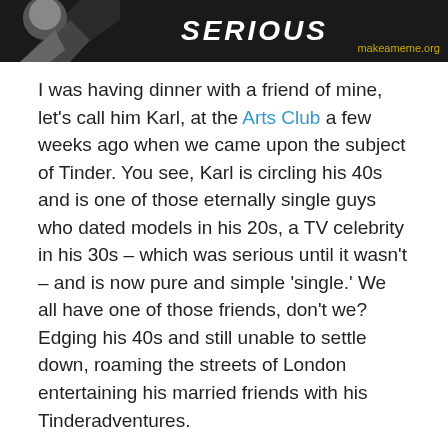[Figure (illustration): Dark banner image with bold white italic text 'SERIOUS' and watermark 'makeameme.org' in yellow-gold text at bottom right. Left portion shows a partial figure graphic on dark background.]
I was having dinner with a friend of mine, let's call him Karl, at the Arts Club a few weeks ago when we came upon the subject of Tinder. You see, Karl is circling his 40s and is one of those eternally single guys who dated models in his 20s, a TV celebrity in his 30s – which was serious until it wasn't – and is now pure and simple 'single.' We all have one of those friends, don't we? Edging his 40s and still unable to settle down, roaming the streets of London entertaining his married friends with his Tinderadventures.
Tinder is a slight obsession of mine, since I am 10 years too late for this cyber-phenomenon (remember the days of Speed dating and Match.com? I even missed those days) and I have often wondered what Tinder dating is actually